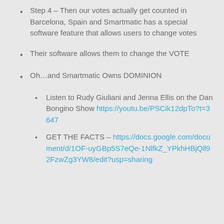Step 4 – Then our votes actually get counted in Barcelona, Spain and Smartmatic has a special software feature that allows users to change votes
Their software allows them to change the VOTE
Oh…and Smartmatic Owns DOMINION
Listen to Rudy Giuliani and Jenna Ellis on the Dan Bongino Show https://youtu.be/PSCik12dpTo?t=3647
GET THE FACTS – https://docs.google.com/document/d/1OF-uyGBp5S7eQe-1NlfkZ_YPkhHBjQll92FzwZg3YW8/edit?usp=sharing